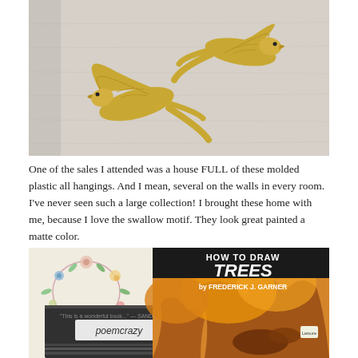[Figure (photo): Two golden/brass-colored molded plastic swallow bird wall hangings on a white fabric background]
One of the sales I attended was a house FULL of these molded plastic all hangings.  And I mean, several on the walls in every room.  I've never seen such a large collection!  I brought these home with me, because I love the swallow motif.  They look great painted a matte color.
[Figure (photo): Three books arranged overlapping: a book with 'poemcrazy' label sticker, a floral embroidered cloth, and 'How to Draw Trees by Frederick J. Garner' book with autumn/orange tree artwork on cover]